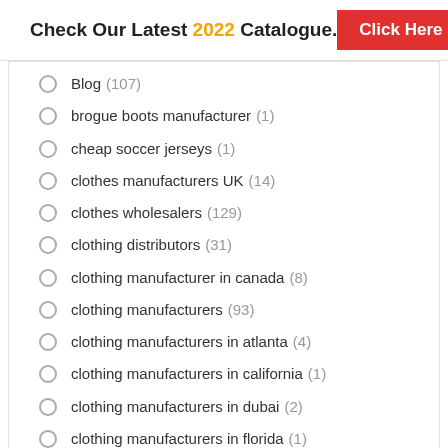Check Our Latest 2022 Catalogue. Click Here
Blog (107)
brogue boots manufacturer (1)
cheap soccer jerseys (1)
clothes manufacturers UK (14)
clothes wholesalers (129)
clothing distributors (31)
clothing manufacturer in canada (8)
clothing manufacturers (93)
clothing manufacturers in atlanta (4)
clothing manufacturers in california (1)
clothing manufacturers in dubai (2)
clothing manufacturers in florida (1)